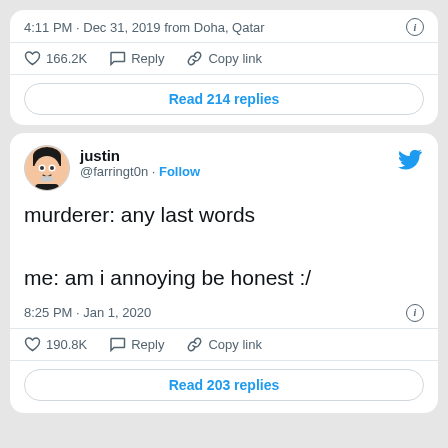4:11 PM · Dec 31, 2019 from Doha, Qatar
166.2K  Reply  Copy link
Read 214 replies
justin @farringt0n · Follow
murderer: any last words

me: am i annoying be honest :/
8:25 PM · Jan 1, 2020
190.8K  Reply  Copy link
Read 203 replies